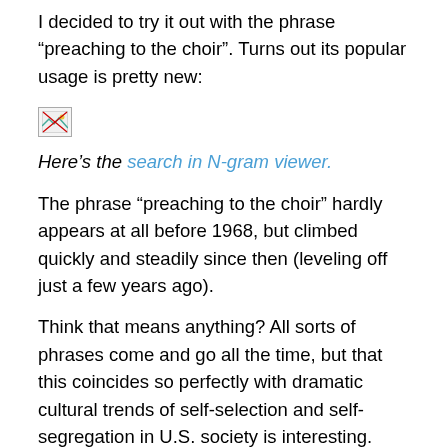I decided to try it out with the phrase “preaching to the choir”. Turns out its popular usage is pretty new:
[Figure (other): Broken image placeholder (image failed to load)]
Here’s the search in N-gram viewer.
The phrase “preaching to the choir” hardly appears at all before 1968, but climbed quickly and steadily since then (leveling off just a few years ago).
Think that means anything? All sorts of phrases come and go all the time, but that this coincides so perfectly with dramatic cultural trends of self-selection and self-segregation in U.S. society is interesting. Seems like it would make sense for the phrase to gain in popularity as